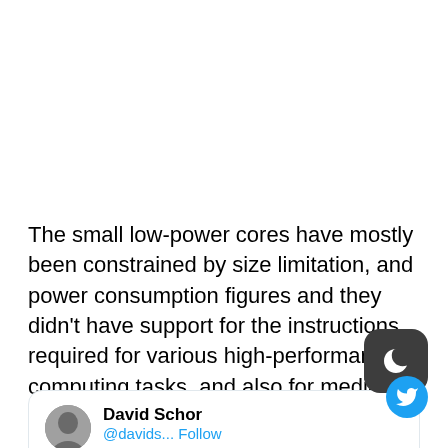The small low-power cores have mostly been constrained by size limitation, and power consumption figures and they didn't have support for the instructions required for various high-performance computing tasks, and also for media encoding/decoding workloads, including other similar heavy tasks. But this is now going to change with the Alder Lake-S CUP lineup, with the upcoming Gracemont cores having support for AVX, AVX2, and AVX-VNNI instruction sets, respectively.
[Figure (screenshot): Partial Twitter card showing avatar photo of David Schor and a Follow link]